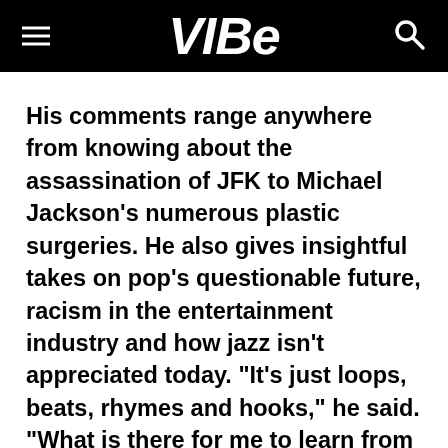VIBE
His comments range anywhere from knowing about the assassination of JFK to Michael Jackson’s numerous plastic surgeries. He also gives insightful takes on pop’s questionable future, racism in the entertainment industry and how jazz isn’t appreciated today. “It’s just loops, beats, rhymes and hooks,” he said. “What is there for me to learn from that? There ain’t no f**king songs. The song is the power; the singer is the messenger. The greatest singer in the world cannot save a bad song. I learned that 50 years ago, and it’s the single greatest lesson I ever learned as a producer. If you don’t have a great song, it doesn’t matter what else